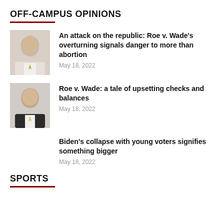OFF-CAMPUS OPINIONS
An attack on the republic: Roe v. Wade's overturning signals danger to more than abortion
May 18, 2022
Roe v. Wade: a tale of upsetting checks and balances
May 18, 2022
Biden's collapse with young voters signifies something bigger
May 18, 2022
SPORTS